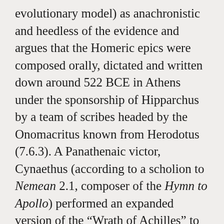evolutionary model) as anachronistic and heedless of the evidence and argues that the Homeric epics were composed orally, dictated and written down around 522 BCE in Athens under the sponsorship of Hipparchus by a team of scribes headed by the Onomacritus known from Herodotus (7.6.3). A Panathenaic victor, Cynaethus (according to a scholion to Nemean 2.1, composer of the Hymn to Apollo) performed an expanded version of the “Wrath of Achilles” to commemorate his accomplishment. The recording lasted 24 days; a later rhapsode repeated the feat in expanding the “Homecoming of Odysseus”. The official texts, prepared and transcribed, were deposited in the Acropolis. Three votive statues of scribes were dedicated in commemoration.